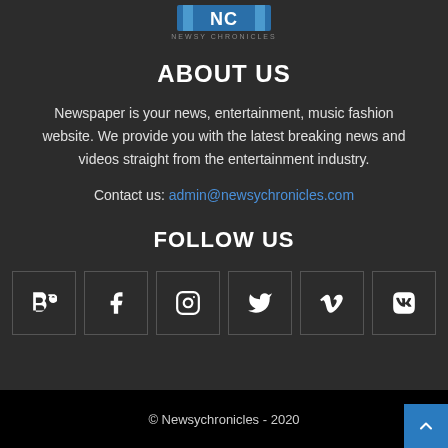[Figure (logo): Newsy Chronicles logo with blue and grey design and text 'NEWSY CHRONICLES']
ABOUT US
Newspaper is your news, entertainment, music fashion website. We provide you with the latest breaking news and videos straight from the entertainment industry.
Contact us: admin@newsychronicles.com
FOLLOW US
[Figure (other): Social media icons in square boxes: Behance, Facebook, Instagram, Twitter, Vimeo, VK]
© Newsychronicles - 2020